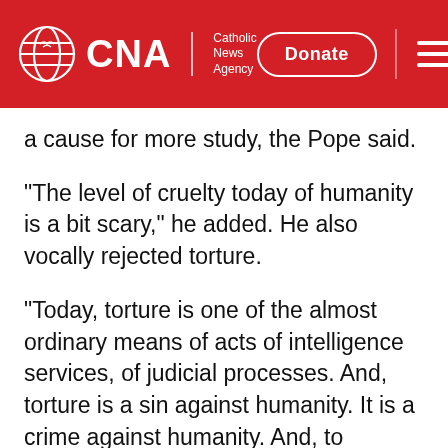CNA | Catholic News Agency — Donate
a cause for more study, the Pope said.
"The level of cruelty today of humanity is a bit scary," he added. He also vocally rejected torture.
"Today, torture is one of the almost ordinary means of acts of intelligence services, of judicial processes. And, torture is a sin against humanity. It is a crime against humanity. And, to Catholics I say that torturing a person is a mortal sin. It is a grave sin. But, it's more. It's a sin against humanity."